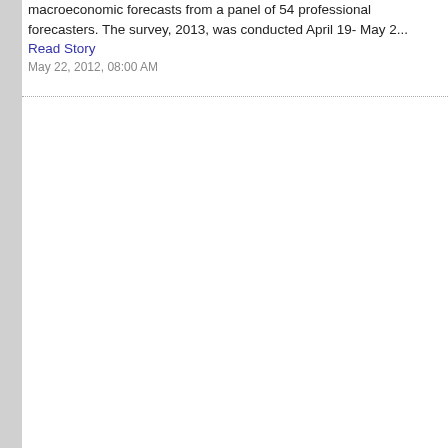macroeconomic forecasts from a panel of 54 professional forecasters. The survey, 2013, was conducted April 19- May 2... Read Story
May 22, 2012, 08:00 AM